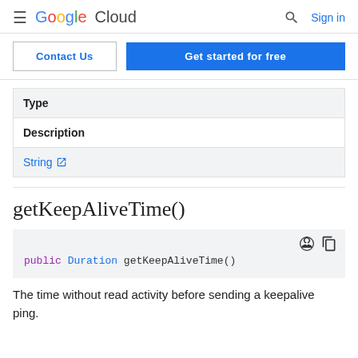Google Cloud  Sign in
Contact Us  Get started for free
| Type | Description |
| --- | --- |
| String ↗ |  |
getKeepAliveTime()
public Duration getKeepAliveTime()
The time without read activity before sending a keepalive ping.